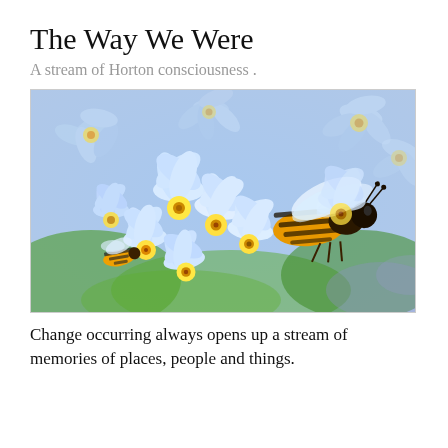The Way We Were
A stream of Horton consciousness .
[Figure (photo): Close-up photograph of light blue forget-me-not flowers with two honey bees. The bees are collecting nectar from the small five-petaled pale blue flowers with yellow centers. Green bokeh background.]
Change occurring always opens up a stream of memories of places, people and things.